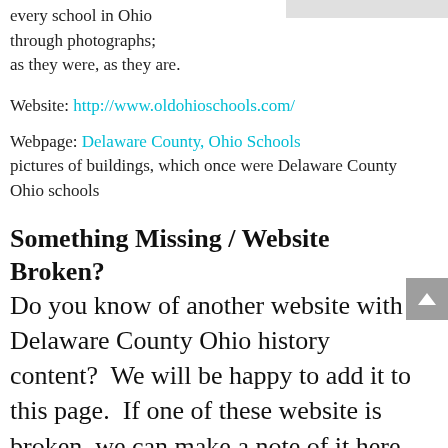every school in Ohio through photographs; as they were, as they are.
Website: http://www.oldohioschools.com/
Webpage: Delaware County, Ohio Schools pictures of buildings, which once were Delaware County Ohio schools
Something Missing / Website Broken?
Do you know of another website with Delaware County Ohio history content?  We will be happy to add it to this page.  If one of these website is broken, we can make a note of it here, just let us know.